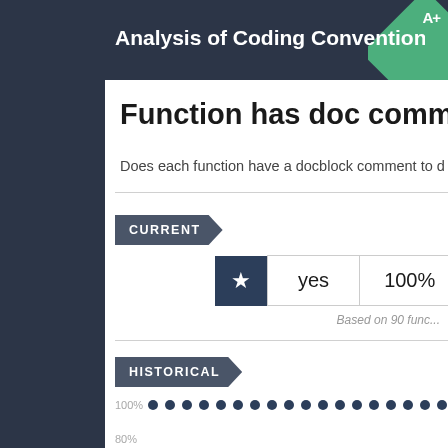Analysis of Coding Conventions for Aura...
Function has doc comment
Does each function have a docblock comment to d...
CURRENT
|  | yes | 100% |
| --- | --- | --- |
| ★ | yes | 100% |
Based on 90 func...
HISTORICAL
[Figure (line-chart): Line chart showing 100% value across historical time points, dots at 100% level]